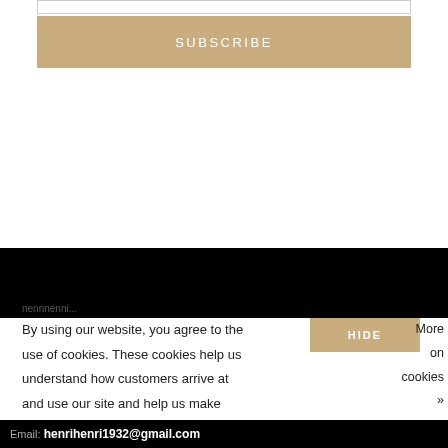[Figure (screenshot): Subscribe button (tan/gold colored) with white text 'SUBSCRIBE', above a white space area, then a black section, followed by a cookie consent bar with 'HIDE' button and 'More on cookies »' link, and an email footer showing 'Email: henrihenri1932@gmail.com']
SUBSCRIBE
By using our website, you agree to the use of cookies. These cookies help us understand how customers arrive at and use our site and help us make improvements.
HIDE
More on cookies »
Email: henrihenri1932@gmail.com